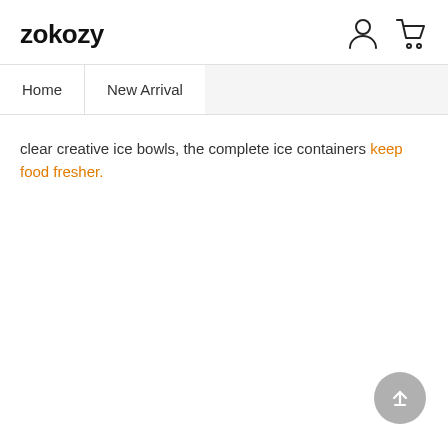zokozy
Home   New Arrival
clear creative ice bowls, the complete ice containers keep food fresher.
[Figure (illustration): Back to top button - grey circle with upward arrow]